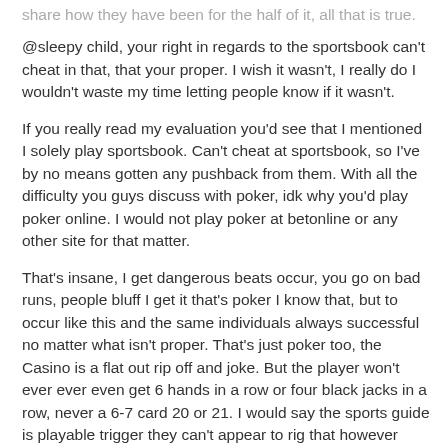share how they have been for the half of it, all that is true.
@sleepy child, your right in regards to the sportsbook can't cheat in that, that your proper. I wish it wasn't, I really do I wouldn't waste my time letting people know if it wasn't.
If you really read my evaluation you'd see that I mentioned I solely play sportsbook. Can't cheat at sportsbook, so I've by no means gotten any pushback from them. With all the difficulty you guys discuss with poker, idk why you'd play poker online. I would not play poker at betonline or any other site for that matter.
That's insane, I get dangerous beats occur, you go on bad runs, people bluff I get it that's poker I know that, but to occur like this and the same individuals always successful no matter what isn't proper. That's just poker too, the Casino is a flat out rip off and joke. But the player won't ever ever even get 6 hands in a row or four black jacks in a row, never a 6-7 card 20 or 21. I would say the sports guide is playable trigger they can't appear to rig that however even that could be a joke, the traces are at all times higher and so they change at all times 2-three times if you want to lock your guess in. Say the road is 110 and your like okay I'll bet it, you go to submit it and it'll say please change guess